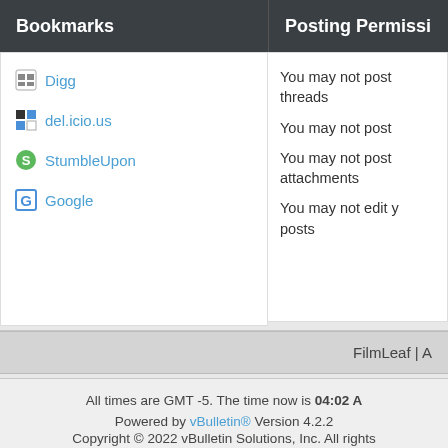Bookmarks
Posting Permissi
Digg
del.icio.us
StumbleUpon
Google
You may not post threads
You may not post
You may not post attachments
You may not edit your posts
FilmLeaf |
All times are GMT -5. The time now is 04:02 A
Powered by vBulletin® Version 4.2.2
Copyright © 2022 vBulletin Solutions, Inc. All rights
vBulletin Metro Theme by PixelGoose Stud